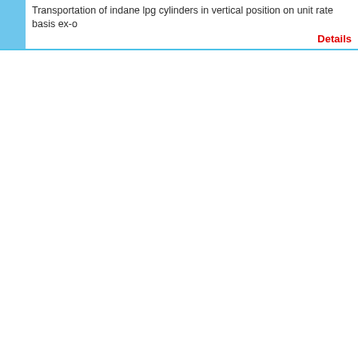Transportation of indane lpg cylinders in vertical position on unit rate basis ex-o Details